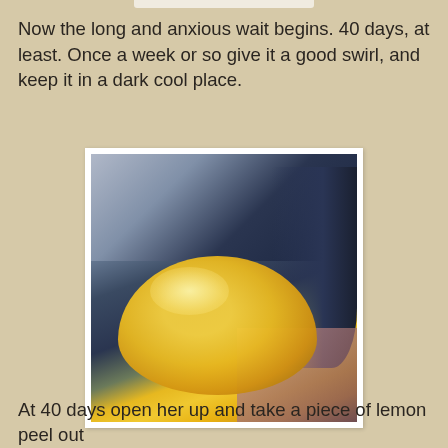Now the long and anxious wait begins. 40 days, at least. Once a week or so give it a good swirl, and keep it in a dark cool place.
[Figure (photo): A dark ceramic mug or pot viewed from above, filled with yellow lemon peel pieces, on a granite countertop with a pink cloth visible.]
At 40 days open her up and take a piece of lemon peel out